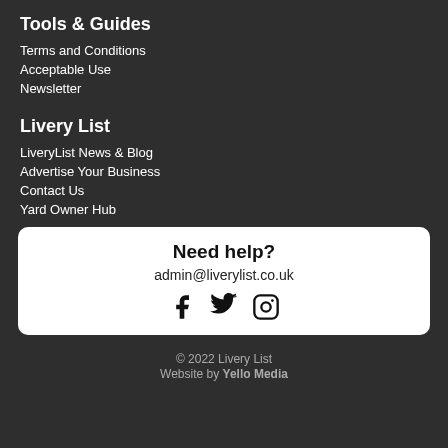Tools & Guides
Terms and Conditions
Acceptable Use
Newsletter
Livery List
LiveryList News & Blog
Advertise Your Business
Contact Us
Yard Owner Hub
Need help?
admin@liverylist.co.uk
[Figure (other): Social media icons: Facebook, Twitter, Instagram]
© 2022 Livery List Website by Yello Media